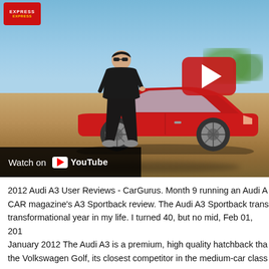[Figure (screenshot): YouTube video thumbnail showing a man in black clothes and sunglasses standing next to a red Audi A3 hatchback on a dirt road with blue sky background. A red YouTube play button is visible in the upper right of the video. Bottom left shows 'Watch on YouTube' bar. Top left shows an Express logo badge.]
2012 Audi A3 User Reviews - CarGurus. Month 9 running an Audi A CAR magazine's A3 Sportback review. The Audi A3 Sportback trans transformational year in my life. I turned 40, but no mid, Feb 01, 201 January 2012 The Audi A3 is a premium, high quality hatchback tha the Volkswagen Golf, its closest competitor in the medium-car class